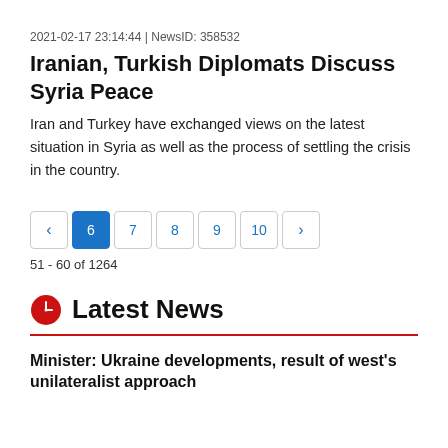2021-02-17 23:14:44 | NewsID: 358532
Iranian, Turkish Diplomats Discuss Syria Peace
Iran and Turkey have exchanged views on the latest situation in Syria as well as the process of settling the crisis in the country.
Pagination: < 6 7 8 9 10 >
51 - 60 of 1264
Latest News
Minister: Ukraine developments, result of west's unilateralist approach